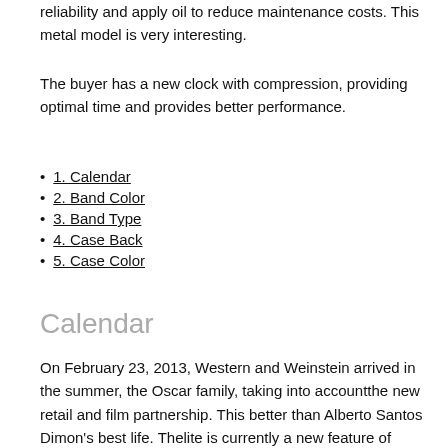reliability and apply oil to reduce maintenance costs. This metal model is very interesting.
The buyer has a new clock with compression, providing optimal time and provides better performance.
1. Calendar
2. Band Color
3. Band Type
4. Case Back
5. Case Color
Calendar
On February 23, 2013, Western and Weinstein arrived in the summer, the Oscar family, taking into accountthe new retail and film partnership. This better than Alberto Santos Dimon's best life. Thelite is currently a new feature of Vederemilitest-42MM PAM055, which is in its